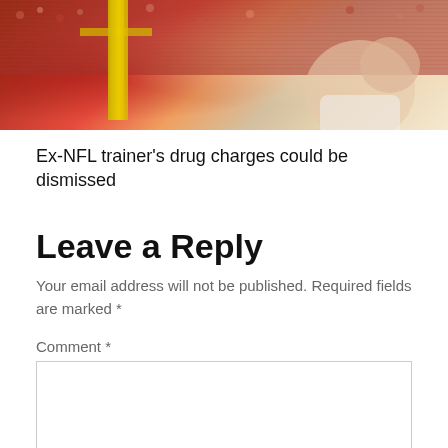[Figure (photo): Sports photo showing a football stadium scene with a yellow goalpost and crowd in the background, with a person in foreground]
Ex-NFL trainer's drug charges could be dismissed
Leave a Reply
Your email address will not be published. Required fields are marked *
Comment *